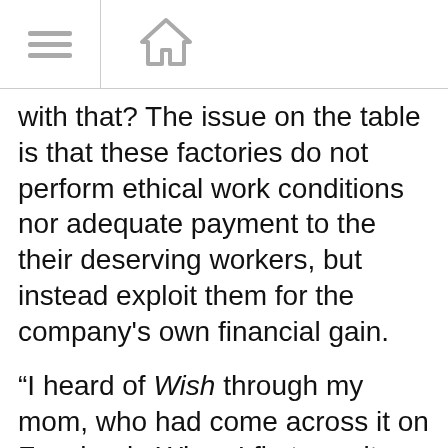[hamburger menu icon] [home icon]
with that? The issue on the table is that these factories do not perform ethical work conditions nor adequate payment to the their deserving workers, but instead exploit them for the company's own financial gain.
“I heard of Wish through my mom, who had come across it on Facebook. When I first saw it and registered an account, I was standoffish because of the low prices. When I ordered a water bottle and a couple of cute bracelets, it took weeks to come. For a time I thought they were not going to, until one it was just there sitting on my porch!”